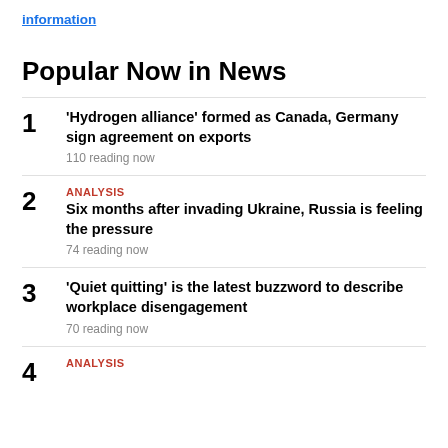information
Popular Now in News
1 'Hydrogen alliance' formed as Canada, Germany sign agreement on exports
110 reading now
2 ANALYSIS Six months after invading Ukraine, Russia is feeling the pressure
74 reading now
3 'Quiet quitting' is the latest buzzword to describe workplace disengagement
70 reading now
4 ANALYSIS